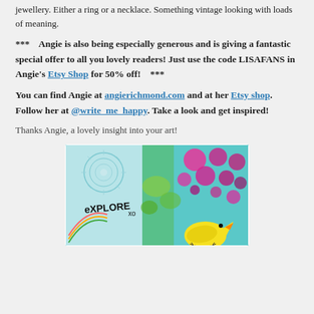jewellery. Either a ring or a necklace. Something vintage looking with loads of meaning.
***   Angie is also being especially generous and is giving a fantastic special offer to all you lovely readers! Just use the code LISAFANS in Angie's Etsy Shop for 50% off!   ***
You can find Angie at angierichmond.com and at her Etsy shop. Follow her at @write_me_happy. Take a look and get inspired!
Thanks Angie, a lovely insight into your art!
[Figure (photo): Colorful mixed media artwork with the word EXPLORE written on it, featuring bright turquoise, pink, green and yellow colors with circular patterns and a yellow bird figure at the bottom right.]